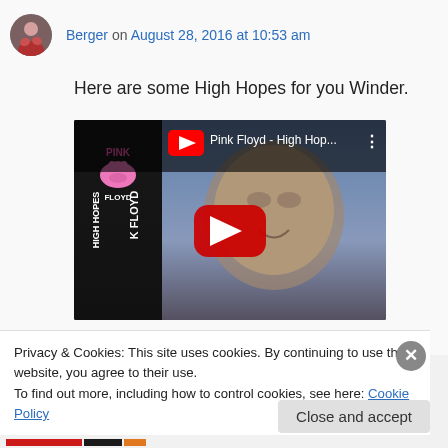Berger on August 28, 2016 at 10:53 am
Here are some High Hopes for you Winder.
[Figure (screenshot): YouTube video thumbnail for Pink Floyd - High Hop... with play button overlay]
Privacy & Cookies: This site uses cookies. By continuing to use this website, you agree to their use.
To find out more, including how to control cookies, see here: Cookie Policy
Close and accept